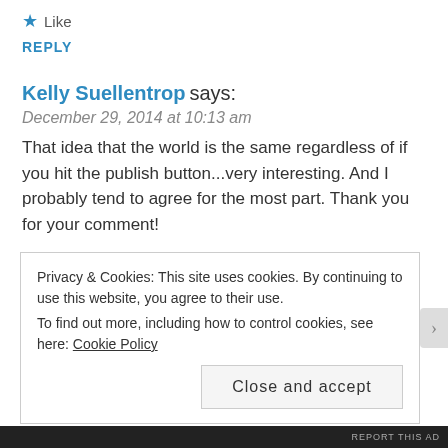★ Like
REPLY
Kelly Suellentrop says:
December 29, 2014 at 10:13 am
That idea that the world is the same regardless of if you hit the publish button...very interesting. And I probably tend to agree for the most part. Thank you for your comment!
★ Like
REPLY
Privacy & Cookies: This site uses cookies. By continuing to use this website, you agree to their use. To find out more, including how to control cookies, see here: Cookie Policy
Close and accept